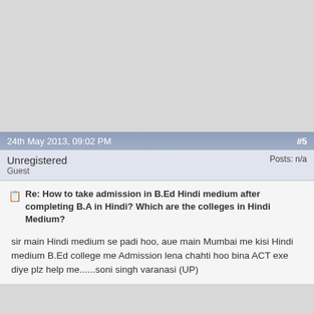24th May 2013, 09:02 PM  #5
Unregistered
Guest
Posts: n/a
Re: How to take admission in B.Ed Hindi medium after completing B.A in Hindi? Which are the colleges in Hindi Medium?
sir main Hindi medium se padi hoo, aue main Mumbai me kisi Hindi medium B.Ed college me Admission lena chahti hoo bina ACT exe diye plz help me......soni singh varanasi (UP)